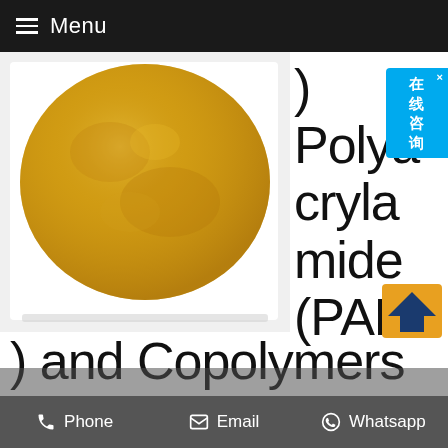≡ Menu
[Figure (photo): Yellow/golden powder in a white petri dish on a white surface — Polyacrylamide (PAM) chemical product photo]
) - Polyacrylamide (PAM) and Copolymers
USA Home > Product Directory > Materials Science > Polymer Science > Polymers > Hydrophilic Polymers > Poly(N-isopropylacrylamide) (PNIPAM) and Polyacrylamide (PAM) > Polyacrylamide (PAM) and Copolymers > Polyacrylamide (PAM)
Phone   Email   Whatsapp